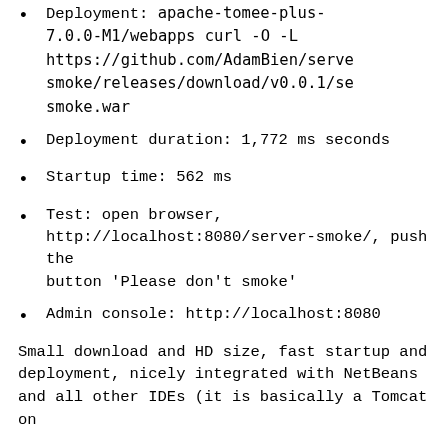Deployment: apache-tomee-plus-7.0.0-M1/webapps curl -O -L https://github.com/AdamBien/server-smoke/releases/download/v0.0.1/server-smoke.war
Deployment duration: 1,772 ms seconds
Startup time: 562 ms
Test: open browser, http://localhost:8080/server-smoke/, push the button 'Please don't smoke'
Admin console: http://localhost:8080
Small download and HD size, fast startup and deployment, nicely integrated with NetBeans and all other IDEs (it is basically a Tomcat on